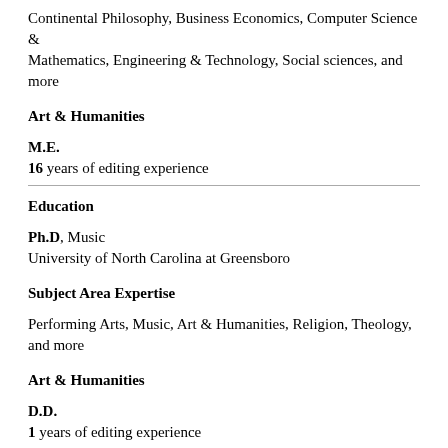Continental Philosophy, Business Economics, Computer Science & Mathematics, Engineering & Technology, Social sciences, and more
Art & Humanities
M.E.
16 years of editing experience
Education
Ph.D, Music
University of North Carolina at Greensboro
Subject Area Expertise
Performing Arts, Music, Art & Humanities, Religion, Theology, and more
Art & Humanities
D.D.
1 years of editing experience